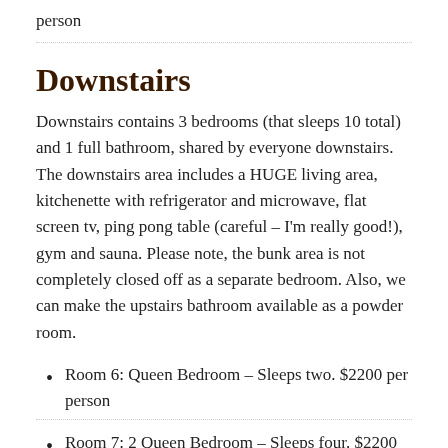person
Downstairs
Downstairs contains 3 bedrooms (that sleeps 10 total) and 1 full bathroom, shared by everyone downstairs. The downstairs area includes a HUGE living area, kitchenette with refrigerator and microwave, flat screen tv, ping pong table (careful – I'm really good!), gym and sauna. Please note, the bunk area is not completely closed off as a separate bedroom. Also, we can make the upstairs bathroom available as a powder room.
Room 6: Queen Bedroom – Sleeps two. $2200 per person
Room 7: 2 Queen Bedroom – Sleeps four. $2200 per